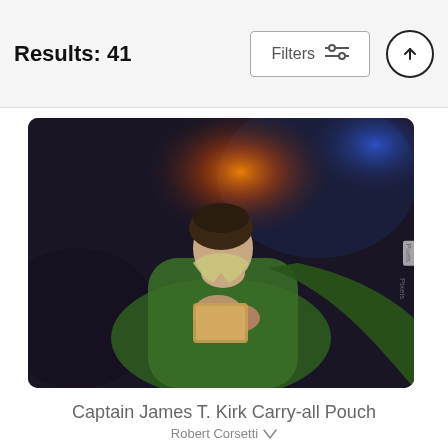Results: 41
Filters
[Figure (photo): Digital painting of Captain James T. Kirk in a green outfit, holding a device, with dramatic lighting against a dark background. Shown as a carry-all pouch product image.]
Captain James T. Kirk Carry-all Pouch
Robert Corsetti ∨
$25 (strikethrough original price) / $20 (sale price)
[Figure (photo): Partial view of a black carry-all pouch with a gold zipper, showing a faint white shape on its surface.]